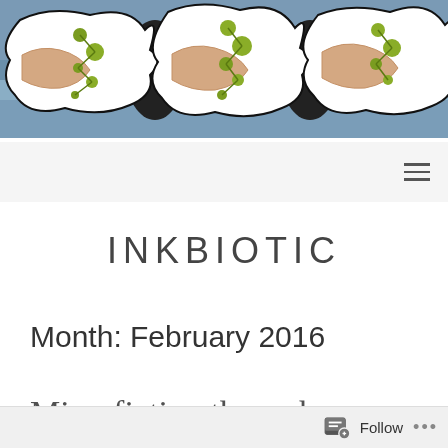[Figure (illustration): Decorative blog header image showing watercolor painting of biological/cell-like shapes with white puzzle-piece forms, green circular dots on stem-like structures, and blue-grey watery background, repeated three times across.]
INKBIOTIC
Month: February 2016
Microfiction through...